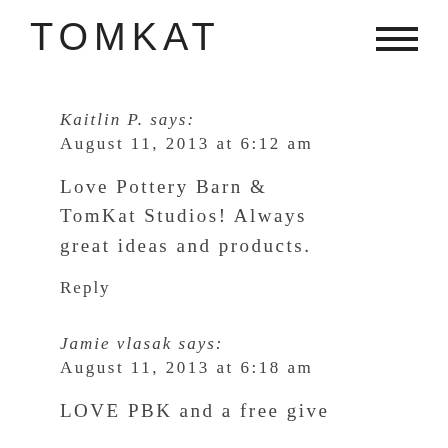TOMKAT
Kaitlin P. says:
August 11, 2013 at 6:12 am
Love Pottery Barn & TomKat Studios! Always great ideas and products.
Reply
Jamie vlasak says:
August 11, 2013 at 6:18 am
LOVE PBK and a free give